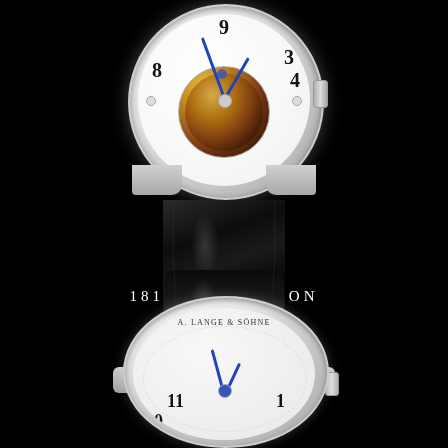[Figure (photo): A. Lange & Söhne 1815 Tourbillon luxury watch shown from two angles on a black background. Top: front view showing white dial with visible tourbillon escapement, black Arabic numerals, blue-steel hands, and black alligator leather strap. Bottom: partially visible back/front view showing white dial with brand text 'A. LANGE & SÖHNE', numerals 10, 11, 1, 2, and blue steel hands, with black leather strap.]
1815 TOURBILLON